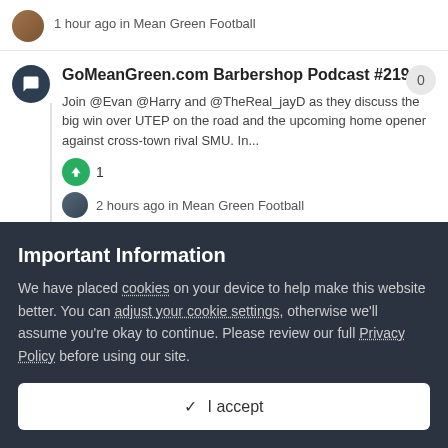1 hour ago in Mean Green Football
GoMeanGreen.com Barbershop Podcast #219
Join @Evan @Harry and @TheReal_jayD as they discuss the big win over UTEP on the road and the upcoming home opener against cross-town rival SMU. In...
1
2 hours ago in Mean Green Football
GoMeanGreen.com Barbershop Podcast #218
Important Information
We have placed cookies on your device to help make this website better. You can adjust your cookie settings, otherwise we'll assume you're okay to continue. Please review our full Privacy Policy before using our site.
✓ I accept